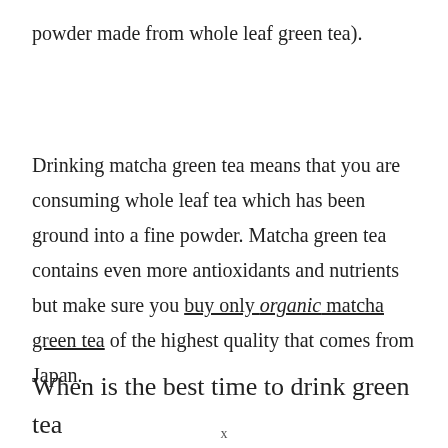powder made from whole leaf green tea).
Drinking matcha green tea means that you are consuming whole leaf tea which has been ground into a fine powder. Matcha green tea contains even more antioxidants and nutrients but make sure you buy only organic matcha green tea of the highest quality that comes from Japan.
When is the best time to drink green tea
x